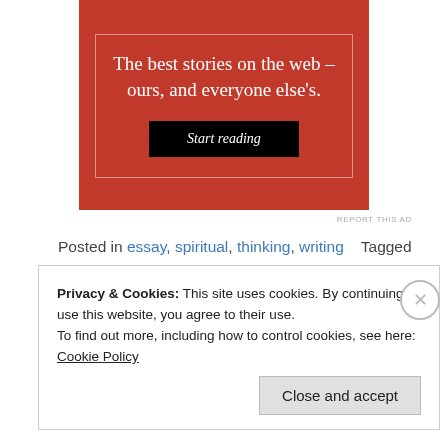[Figure (illustration): Red advertisement banner with white serif headline text 'The best stories on the web – ours, and everyone else's.' and a black 'Start reading' button, bordered with a thin white rectangle inside.]
REPORT THIS AD
Posted in essay, spiritual, thinking, writing   Tagged attitude, blog, creation, creative, creative writing, employee, equality, essay, existential crisis, life, prose, spiritual, superiority, thinking, workplace   13 Comments
Privacy & Cookies: This site uses cookies. By continuing to use this website, you agree to their use. To find out more, including how to control cookies, see here: Cookie Policy